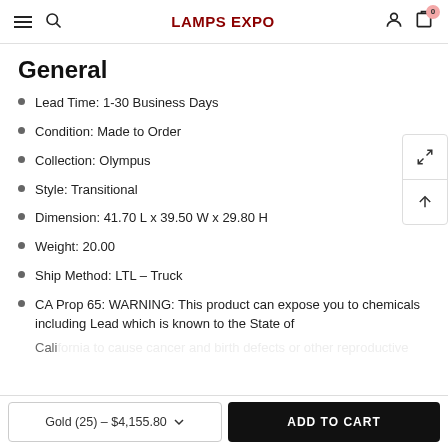LAMPS EXPO
General
Lead Time: 1-30 Business Days
Condition: Made to Order
Collection: Olympus
Style: Transitional
Dimension: 41.70 L x 39.50 W x 29.80 H
Weight: 20.00
Ship Method: LTL - Truck
CA Prop 65: WARNING: This product can expose you to chemicals including Lead which is known to the State of
Gold (25) - $4,155.80
ADD TO CART